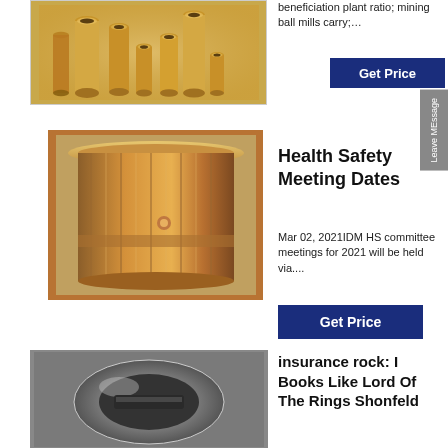[Figure (photo): Group of golden/brass cylindrical tubes of various sizes arranged together]
beneficiation plant ratio; mining ball mills carry;…
Get Price
[Figure (photo): Bronze/copper cylindrical bucket or bushing component]
Health Safety Meeting Dates
Mar 02, 2021IDM HS committee meetings for 2021 will be held via....
Get Price
[Figure (photo): Close-up of a metallic ring or bearing on a grey surface]
insurance rock: I Books Like Lord Of The Rings Shonfeld